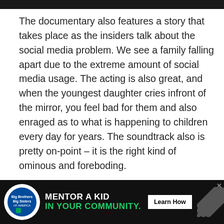The documentary also features a story that takes place as the insiders talk about the social media problem. We see a family falling apart due to the extreme amount of social media usage. The acting is also great, and when the youngest daughter cries infront of the mirror, you feel bad for them and also enraged as to what is happening to children every day for years. The soundtrack also is pretty on-point – it is the right kind of ominous and foreboding.
And sure, social media really is extremely necessary. There are a lot of great things that have ha... really... di... guides
[Figure (other): Advertisement banner for Big Brothers Big Sisters of America: 'MENTOR A KID IN YOUR COMMUNITY.' with a Learn How button]